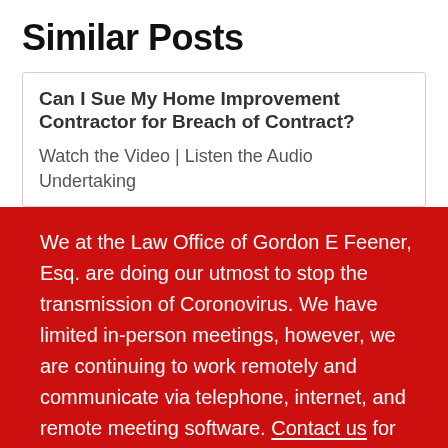Similar Posts
Can I Sue My Home Improvement Contractor for Breach of Contract?
Watch the Video | Listen the Audio Undertaking
We at the Law Office of Gordon E Feener, Esq. are doing our utmost to stop the transmission of Coronovirus. We have limited in-person meetings, however, we are continuing to work remotely and communicate via telephone, internet, and remote meeting software. Contact us for any questions. We stand ready to assist homeowners and business owners with their insurance claims.